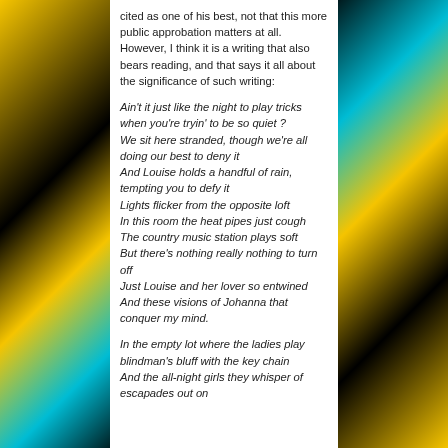cited as one of his best, not that this more public approbation matters at all. However, I think it is a writing that also bears reading, and that says it all about the significance of such writing:
Ain't it just like the night to play tricks when you're tryin' to be so quiet ?
We sit here stranded, though we're all doing our best to deny it
And Louise holds a handful of rain, tempting you to defy it
Lights flicker from the opposite loft
In this room the heat pipes just cough
The country music station plays soft
But there's nothing really nothing to turn off
Just Louise and her lover so entwined
And these visions of Johanna that conquer my mind.
In the empty lot where the ladies play blindman's bluff with the key chain
And the all-night girls they whisper of escapades out on